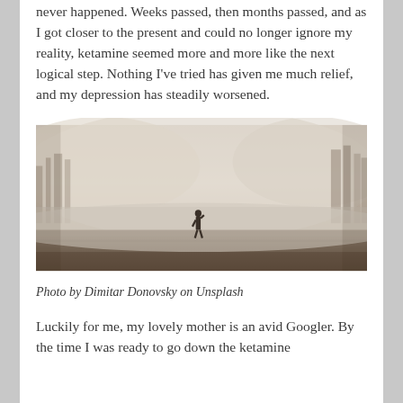never happened. Weeks passed, then months passed, and as I got closer to the present and could no longer ignore my reality, ketamine seemed more and more like the next logical step. Nothing I've tried has given me much relief, and my depression has steadily worsened.
[Figure (photo): A lone figure standing in a foggy, misty field or open landscape. The scene is very hazy with pale beige/grey tones, trees barely visible in the background through the thick fog, and dark ground in the foreground. The atmosphere is moody and isolated.]
Photo by Dimitar Donovsky on Unsplash
Luckily for me, my lovely mother is an avid Googler. By the time I was ready to go down the ketamine